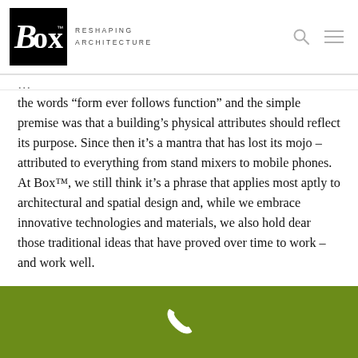[Figure (logo): Box Reshaping Architecture logo — white Box text on black square background, with 'RESHAPING ARCHITECTURE' text beside it]
the words “form ever follows function” and the simple premise was that a building’s physical attributes should reflect its purpose. Since then it’s a mantra that has lost its mojo – attributed to everything from stand mixers to mobile phones. At Box™, we still think it’s a phrase that applies most aptly to architectural and spatial design and, while we embrace innovative technologies and materials, we also hold dear those traditional ideas that have proved over time to work – and work well.
[Figure (other): Green footer bar with white phone icon]